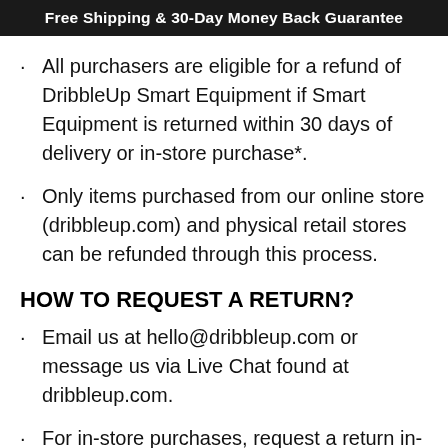Free Shipping & 30-Day Money Back Guarantee
All purchasers are eligible for a refund of DribbleUp Smart Equipment if Smart Equipment is returned within 30 days of delivery or in-store purchase*.
Only items purchased from our online store (dribbleup.com) and physical retail stores can be refunded through this process.
HOW TO REQUEST A RETURN?
Email us at hello@dribbleup.com or message us via Live Chat found at dribbleup.com.
For in-store purchases, request a return in-store.
ADDITIONAL TERMS